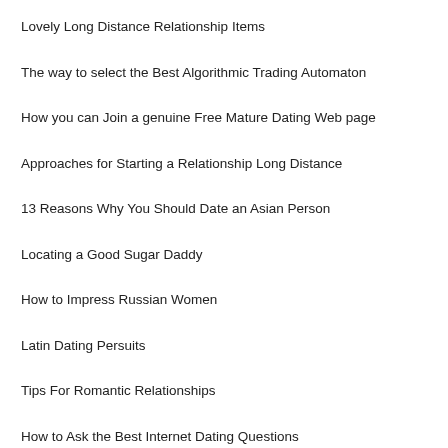Lovely Long Distance Relationship Items
The way to select the Best Algorithmic Trading Automaton
How you can Join a genuine Free Mature Dating Web page
Approaches for Starting a Relationship Long Distance
13 Reasons Why You Should Date an Asian Person
Locating a Good Sugar Daddy
How to Impress Russian Women
Latin Dating Persuits
Tips For Romantic Relationships
How to Ask the Best Internet Dating Questions
What Does “Sugar Daddy” Really Imply?